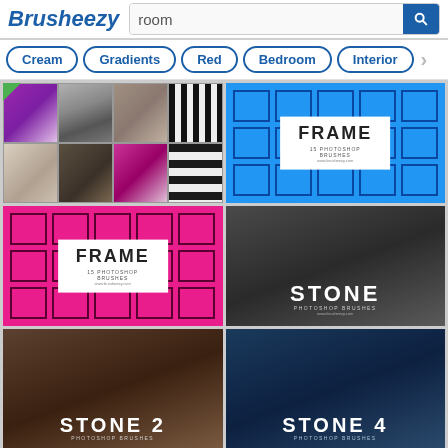Brusheezy — room search page
Cream
Gradients
Red
Bedroom
Interior
[Figure (photo): Texture brush thumbnails grid (stone, purple, crack, stripe textures)]
[Figure (illustration): Frame 15 Photoshop Brushes on blue background with frame grid]
[Figure (illustration): Frame 15 Photoshop Brushes on pink/magenta background with frame grid]
[Figure (photo): Stone Photoshop Brushes on dark stone texture]
[Figure (photo): Stone 2 Photoshop Brushes on brown stone texture]
[Figure (photo): Stone 4 Photoshop Brushes on blue cobblestone texture]